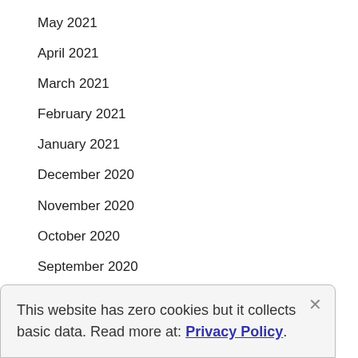May 2021
April 2021
March 2021
February 2021
January 2021
December 2020
November 2020
October 2020
September 2020
This website has zero cookies but it collects basic data. Read more at: Privacy Policy.